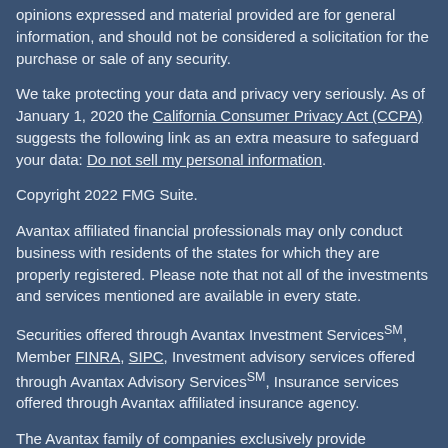opinions expressed and material provided are for general information, and should not be considered a solicitation for the purchase or sale of any security.
We take protecting your data and privacy very seriously. As of January 1, 2020 the California Consumer Privacy Act (CCPA) suggests the following link as an extra measure to safeguard your data: Do not sell my personal information.
Copyright 2022 FMG Suite.
Avantax affiliated financial professionals may only conduct business with residents of the states for which they are properly registered. Please note that not all of the investments and services mentioned are available in every state.
Securities offered through Avantax Investment ServicesSM, Member FINRA, SIPC, Investment advisory services offered through Avantax Advisory ServicesSM, Insurance services offered through Avantax affiliated insurance agency.
The Avantax family of companies exclusively provide investment products and services through its representatives. Although